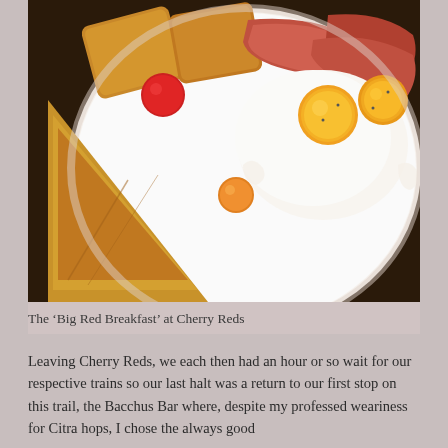[Figure (photo): Close-up photo of a full English breakfast plate called the 'Big Red Breakfast' at Cherry Reds, showing fried eggs, bacon, toast triangles, hash browns, and cherry tomatoes on a white plate against a wooden table background.]
The ‘Big Red Breakfast’ at Cherry Reds
Leaving Cherry Reds, we each then had an hour or so wait for our respective trains so our last halt was a return to our first stop on this trail, the Bacchus Bar where, despite my professed weariness for Citra hops, I chose the always good